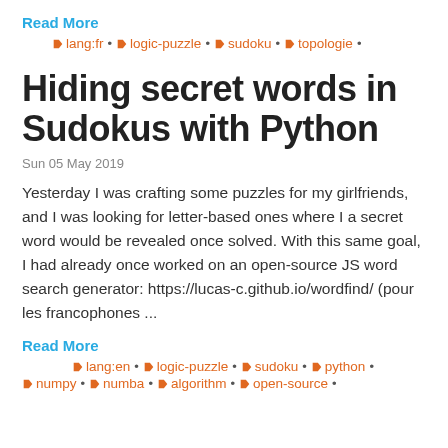Read More
lang:fr • logic-puzzle • sudoku • topologie •
Hiding secret words in Sudokus with Python
Sun 05 May 2019
Yesterday I was crafting some puzzles for my girlfriends, and I was looking for letter-based ones where I a secret word would be revealed once solved. With this same goal, I had already once worked on an open-source JS word search generator: https://lucas-c.github.io/wordfind/ (pour les francophones ...
Read More
lang:en • logic-puzzle • sudoku • python • numpy • numba • algorithm • open-source •